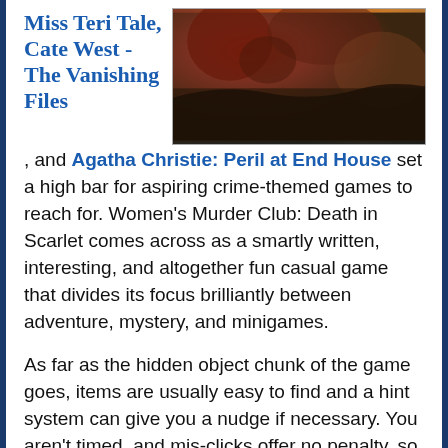Miss Teri Tale, Cate West - The Vanishing Files
[Figure (screenshot): Game screenshot showing a scene with a character portrait at the bottom left and dialogue text reading: 'Not gonna use my fingers on that guy. Those pincers look sharp. Maybe I can get him to grab on to something else.']
and Agatha Christie: Peril at End House set a high bar for aspiring crime-themed games to reach for. Women's Murder Club: Death in Scarlet comes across as a smartly written, interesting, and altogether fun casual game that divides its focus brilliantly between adventure, mystery, and minigames.
As far as the hidden object chunk of the game goes, items are usually easy to find and a hint system can give you a nudge if necessary. You aren't timed, and mis-clicks offer no penalty, so take your time and use the mouse button liberally. Objects are usually quite small and difficult to pinpoint, but at least your poor eyes aren't sifting through several hundred images to